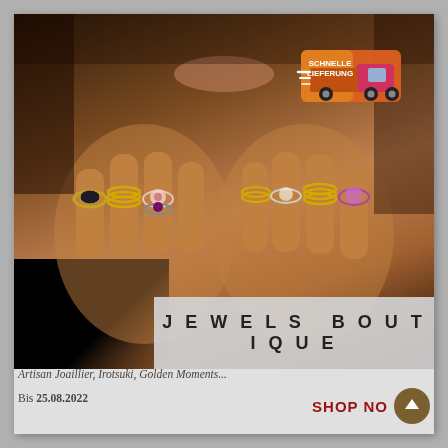[Figure (photo): Woman's hands adorned with multiple ornate rings (silver, gold, gemstone, floral designs), chin visible in background. 'SCHNELLE LIEFERUNG' (fast delivery) truck badge in upper right corner of photo. 'JEWELS BOUTIQUE' title banner overlaid at bottom of photo.]
Artisan Joaillier, Irotsuki, Golden Moments...
Bis 25.08.2022
SHOP NOW